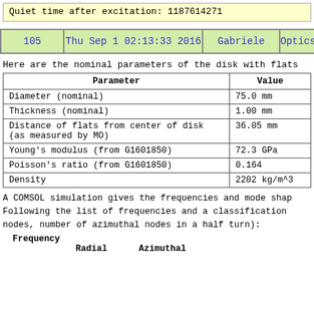Quiet time after excitation: 1187614271
|  |  |
| --- | --- |
| 105 | Thu Sep 1 02:13:33 2016 | Gabriele | Optics |
Here are the nominal parameters of the disk with flats
| Parameter | Value |
| --- | --- |
| Diameter (nominal) | 75.0 mm |
| Thickness (nominal) | 1.00 mm |
| Distance of flats from center of disk
(as measured by MO) | 36.05 mm |
| Young's modulus (from G1601850) | 72.3 GPa |
| Poisson's ratio (from G1601850) | 0.164 |
| Density | 2202 kg/m^3 |
A COMSOL simulation gives the frequencies and mode shap Following the list of frequencies and a classification nodes, number of azimuthal nodes in a half turn):
Frequency		Radial		Azimuthal